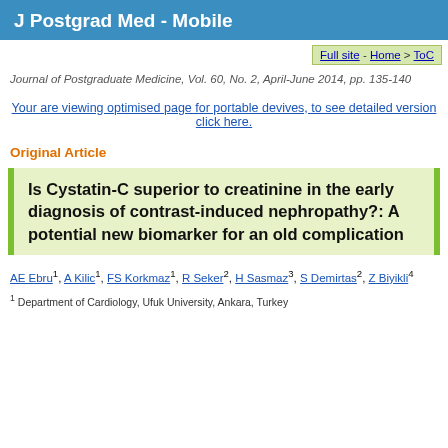J Postgrad Med - Mobile
Full site - Home > ToC
Journal of Postgraduate Medicine, Vol. 60, No. 2, April-June 2014, pp. 135-140
Your are viewing optimised page for portable devives, to see detailed version click here.
Original Article
Is Cystatin-C superior to creatinine in the early diagnosis of contrast-induced nephropathy?: A potential new biomarker for an old complication
AE Ebru1, A Kilic1, FS Korkmaz1, R Seker2, H Sasmaz3, S Demirtas2, Z Biyikli4
1 Department of Cardiology, Ufuk University, Ankara, Turkey